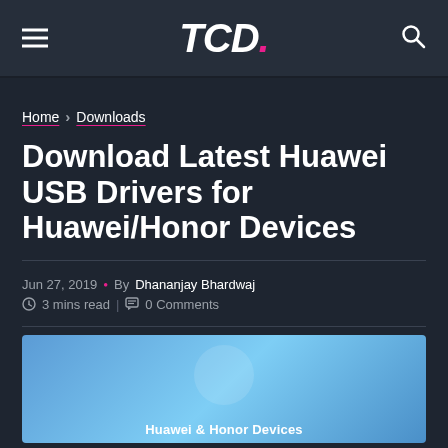TCD. [hamburger menu] [search icon]
Home › Downloads
Download Latest Huawei USB Drivers for Huawei/Honor Devices
Jun 27, 2019 • By Dhananjay Bhardwaj
3 mins read | 0 Comments
[Figure (illustration): Feature image with blue gradient background and 'Huawei & Honor Devices' text label]